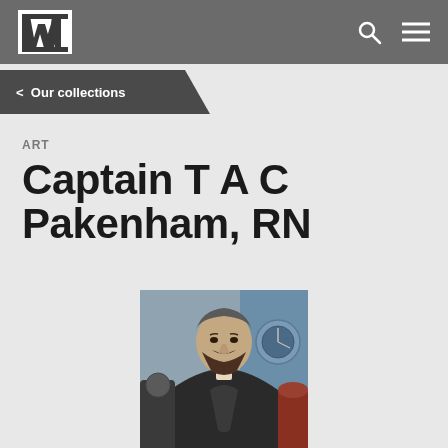IWM
< Our collections
ART
Captain T A C Pakenham, RN
[Figure (photo): Portrait painting of Captain T A C Pakenham RN, a bearded man in dark naval coat seated with nautical instruments visible in the background]